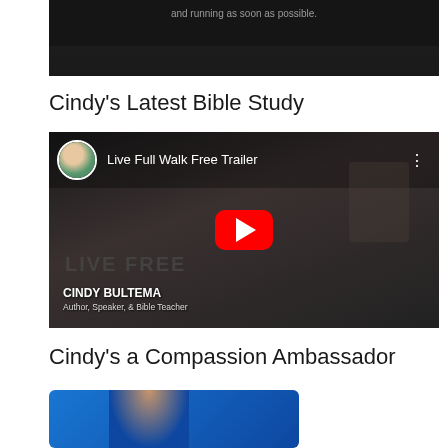[Figure (screenshot): Top portion of a dark video/image with text partially visible reading 'and running as soon as possible.']
Cindy's Latest Bible Study
[Figure (screenshot): YouTube video thumbnail titled 'Live Full Walk Free Trailer' featuring Cindy Bultema, Author, Speaker, & Bible Teacher. Shows a woman in a white blazer sitting in front of a background with 'LIVE FREE' text and a red YouTube play button overlay. Small circular avatar of a woman in blue top appears in the upper left.]
Cindy's a Compassion Ambassador
[Figure (photo): Bottom portion of a blue image, partially cut off, showing a child's face.]